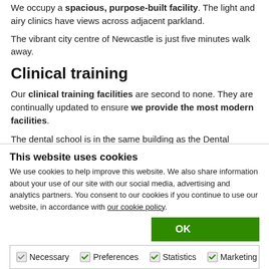We occupy a spacious, purpose-built facility. The light and airy clinics have views across adjacent parkland.
The vibrant city centre of Newcastle is just five minutes walk away.
Clinical training
Our clinical training facilities are second to none. They are continually updated to ensure we provide the most modern facilities.
The dental school is in the same building as the Dental Hospital. We are part of one of the largest integrated teaching and hospital complexes in the country.
This website uses cookies
We use cookies to help improve this website. We also share information about your use of our site with our social media, advertising and analytics partners. You consent to our cookies if you continue to use our website, in accordance with our cookie policy.
OK
Necessary  Preferences  Statistics  Marketing